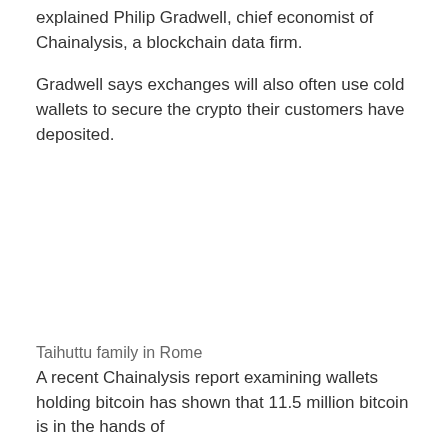explained Philip Gradwell, chief economist of Chainalysis, a blockchain data firm.
Gradwell says exchanges will also often use cold wallets to secure the crypto their customers have deposited.
Taihuttu family in Rome
A recent Chainalysis report examining wallets holding bitcoin has shown that 11.5 million bitcoin is in the hands of